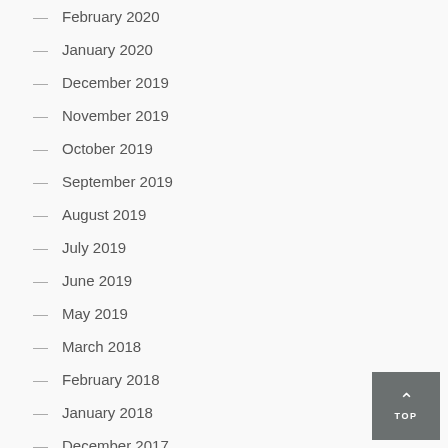February 2020
January 2020
December 2019
November 2019
October 2019
September 2019
August 2019
July 2019
June 2019
May 2019
March 2018
February 2018
January 2018
December 2017